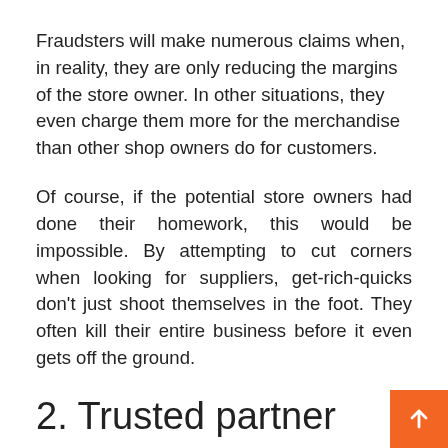Fraudsters will make numerous claims when, in reality, they are only reducing the margins of the store owner. In other situations, they even charge them more for the merchandise than other shop owners do for customers.
Of course, if the potential store owners had done their homework, this would be impossible. By attempting to cut corners when looking for suppliers, get-rich-quicks don't just shoot themselves in the foot. They often kill their entire business before it even gets off the ground.
2. Trusted partner
Your provider must be a reliable partner, not a